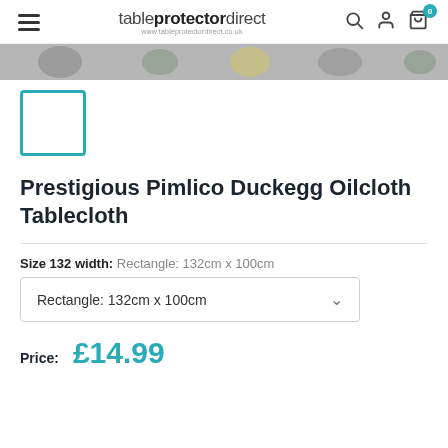tableprotectordirect www.tableprotectordirect.co.uk
[Figure (photo): Partial view of oilcloth tablecloth with geometric pattern in grey, yellow and teal]
[Figure (photo): Selected thumbnail image of tablecloth with blue border]
Prestigious Pimlico Duckegg Oilcloth Tablecloth
Size 132 width: Rectangle: 132cm x 100cm
Rectangle: 132cm x 100cm
Price: £14.99